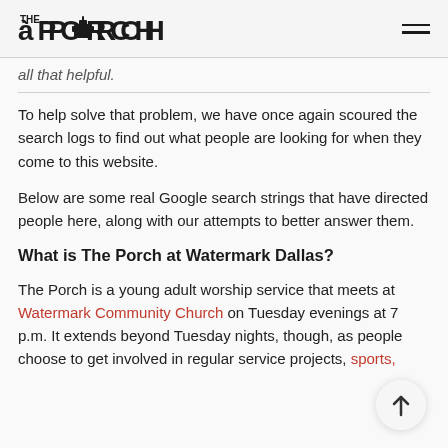THE PORCH
all that helpful.
To help solve that problem, we have once again scoured the search logs to find out what people are looking for when they come to this website.
Below are some real Google search strings that have directed people here, along with our attempts to better answer them.
What is The Porch at Watermark Dallas?
The Porch is a young adult worship service that meets at Watermark Community Church on Tuesday evenings at 7 p.m. It extends beyond Tuesday nights, though, as people choose to get involved in regular service projects, sports,